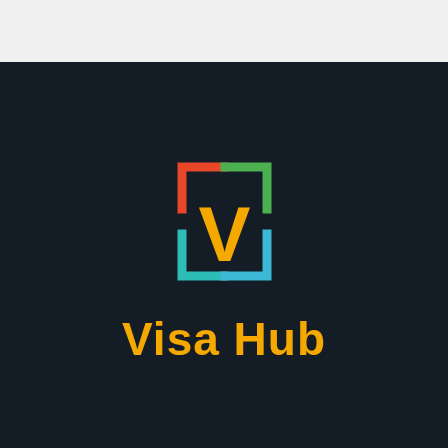[Figure (logo): Visa Hub company logo. A square bracket icon with four colored corners (top-left orange/red, top-right green, bottom-left teal, bottom-right blue) surrounding a bold yellow letter V on a dark navy background. Below the icon is the text 'Visa Hub' in bold golden/amber color.]